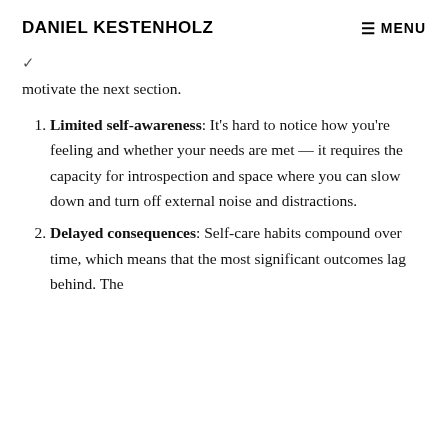DANIEL KESTENHOLZ   ≡ MENU
motivate the next section.
Limited self-awareness: It's hard to notice how you're feeling and whether your needs are met — it requires the capacity for introspection and space where you can slow down and turn off external noise and distractions.
Delayed consequences: Self-care habits compound over time, which means that the most significant outcomes lag behind. The